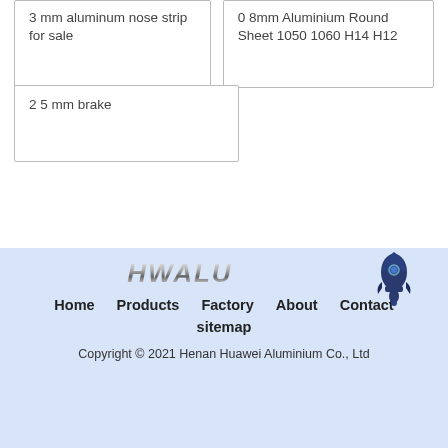3 mm aluminum nose strip for sale
0 8mm Aluminium Round Sheet 1050 1060 H14 H12
2 5 mm brake
[Figure (logo): HWALU metallic italic logo text]
[Figure (illustration): Rocket/notification bell icon in dark blue]
Home   Products   Factory   About   Contact   sitemap
Copyright © 2021 Henan Huawei Aluminium Co., Ltd